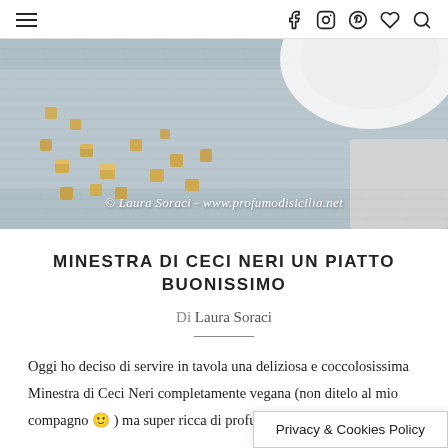☰   f  ⊙  ⊕  ♡  🔍
[Figure (photo): Close-up photo of small golden croutons/fried bread cubes scattered on a blue striped linen cloth next to a white bowl. Watermark reads: © Laura Soraci - www.profumodisicilia.net]
MINESTRA DI CECI NERI UN PIATTO BUONISSIMO
Di Laura Soraci
Oggi ho deciso di servire in tavola una deliziosa e coccolosissima Minestra di Ceci Neri completamente vegana (non ditelo al mio compagno ☺ ) ma super ricca di profumo e...
Privacy & Cookies Policy